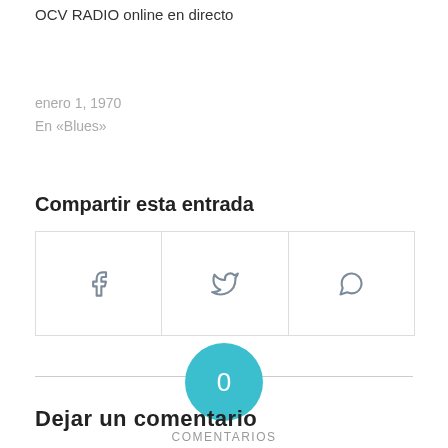OCV RADIO online en directo
enero 1, 1970
En «Blues»
Compartir esta entrada
[Figure (infographic): Social share buttons row with Facebook, Twitter, and WhatsApp icons in bordered cells]
[Figure (infographic): Teal circle with white '0' number inside]
COMENTARIOS
Dejar un comentario